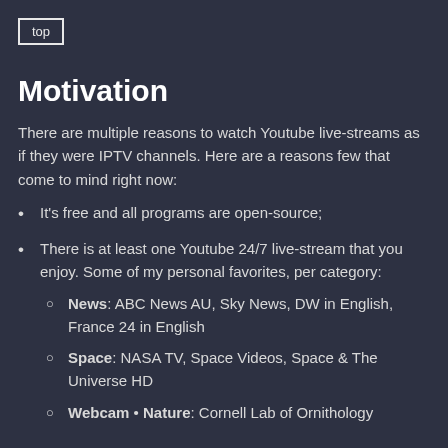top
Motivation
There are multiple reasons to watch Youtube live-streams as if they were IPTV channels. Here are a reasons few that come to mind right now:
It's free and all programs are open-source;
There is at least one Youtube 24/7 live-stream that you enjoy. Some of my personal favorites, per category:
News: ABC News AU, Sky News, DW in English, France 24 in English
Space: NASA TV, Space Videos, Space & The Universe HD
Webcam • Nature: Cornell Lab of Ornithology